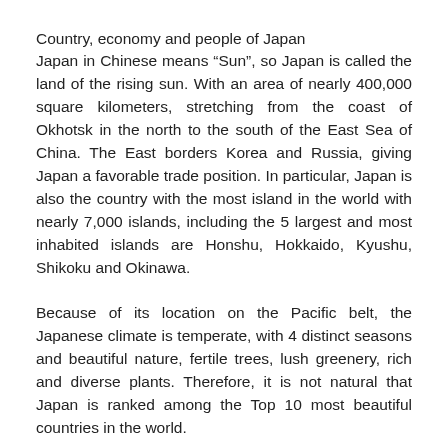Country, economy and people of Japan
Japan in Chinese means “Sun”, so Japan is called the land of the rising sun. With an area of nearly 400,000 square kilometers, stretching from the coast of Okhotsk in the north to the south of the East Sea of China. The East borders Korea and Russia, giving Japan a favorable trade position. In particular, Japan is also the country with the most island in the world with nearly 7,000 islands, including the 5 largest and most inhabited islands are Honshu, Hokkaido, Kyushu, Shikoku and Okinawa.
Because of its location on the Pacific belt, the Japanese climate is temperate, with 4 distinct seasons and beautiful nature, fertile trees, lush greenery, rich and diverse plants. Therefore, it is not natural that Japan is ranked among the Top 10 most beautiful countries in the world.
However, it is because of this terrain that Japan suffers from hundreds of earthquakes, volcanic eruptions and tsunamis every year. Because of these natural disasters, the country of Japan seemed to be wiped from the map. But with a strong, determined and determined will, the people of this country joined hands to build